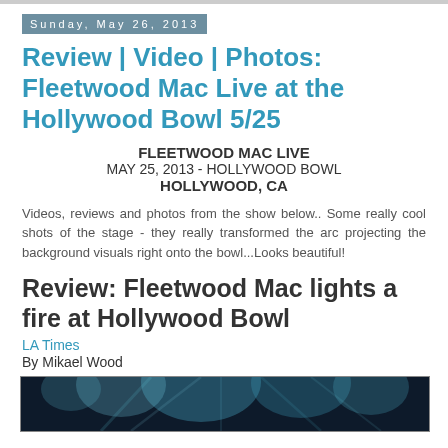Sunday, May 26, 2013
Review | Video | Photos: Fleetwood Mac Live at the Hollywood Bowl 5/25
FLEETWOOD MAC LIVE
MAY 25, 2013 - HOLLYWOOD BOWL
HOLLYWOOD, CA
Videos, reviews and photos from the show below.. Some really cool shots of the stage - they really transformed the arc projecting the background visuals right onto the bowl...Looks beautiful!
Review: Fleetwood Mac lights a fire at Hollywood Bowl
LA Times
By Mikael Wood
[Figure (photo): Dark stage photo with colored lighting effects at the Hollywood Bowl]